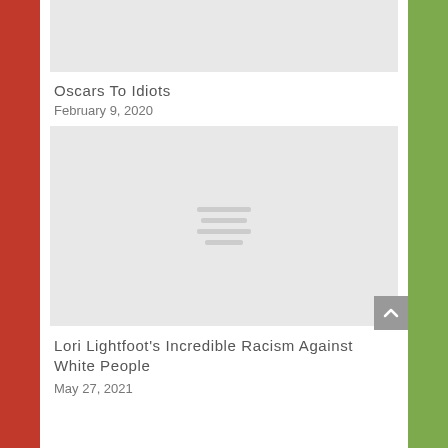[Figure (photo): Placeholder image at top (light grey rectangle)]
Oscars To Idiots
February 9, 2020
[Figure (photo): Placeholder image in middle (light grey rectangle with lines icon)]
Lori Lightfoot's Incredible Racism Against White People
May 27, 2021